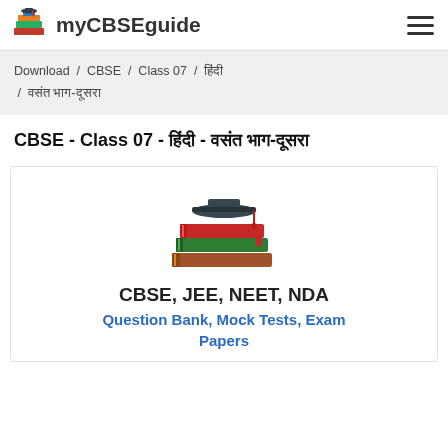myCBSEguide
Download / CBSE / Class 07 / हिंदी / वसंत भाग-दूसरा
CBSE - Class 07 - हिंदी - वसंत भाग-दूसरा
[Figure (illustration): Stack of books with graduation cap icon]
CBSE, JEE, NEET, NDA
Question Bank, Mock Tests, Exam Papers